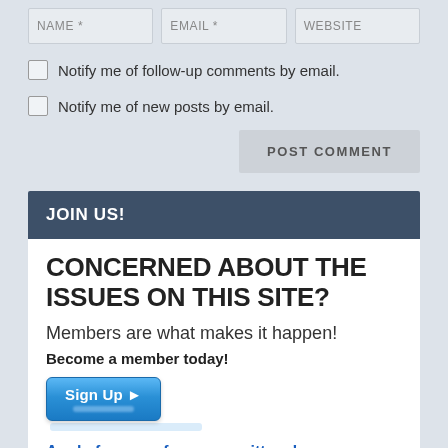[Figure (screenshot): Form input fields for NAME *, EMAIL *, and WEBSITE]
Notify me of follow-up comments by email.
Notify me of new posts by email.
POST COMMENT
JOIN US!
CONCERNED ABOUT THE ISSUES ON THIS SITE?
Members are what makes it happen!
Become a member today!
[Figure (screenshot): Sign Up button with arrow]
Apply for one of our committees!
[Figure (screenshot): Green button bar at bottom]